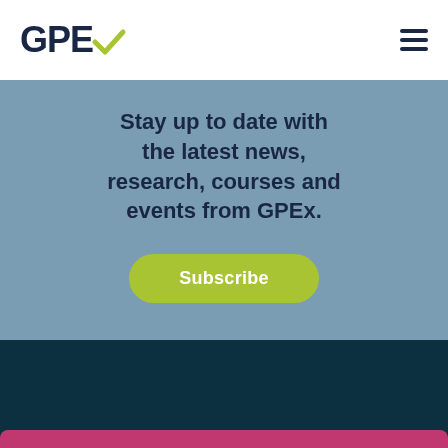[Figure (logo): GPEx logo with green checkmark replacing the 'x', dark navy text]
[Figure (other): Hamburger menu icon (three horizontal lines) in dark navy]
Stay up to date with the latest news, research, courses and events from GPEx.
[Figure (other): Green rounded Subscribe button]
[Figure (other): Dark teal footer section background]
[Figure (other): Pink/magenta bar partially visible at bottom]